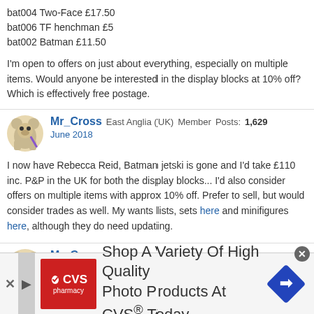bat004 Two-Face £17.50
bat006 TF henchman £5
bat002 Batman £11.50
I'm open to offers on just about everything, especially on multiple items. Would anyone be interested in the display blocks at 10% off? Which is effectively free postage.
Mr_Cross  East Anglia (UK)  Member  Posts: 1,629  June 2018
I now have Rebecca Reid, Batman jetski is gone and I'd take £110 inc. P&P in the UK for both the display blocks... I'd also consider offers on multiple items with approx 10% off. Prefer to sell, but would consider trades as well. My wants lists, sets here and minifigures here, although they do need updating.
Mr_Cross  East Anglia (UK)  Member  Posts: 1,629  June 2018  edited June 2018
[Figure (infographic): CVS Pharmacy advertisement banner: Shop A Variety Of High Quality Photo Products At CVS Today]